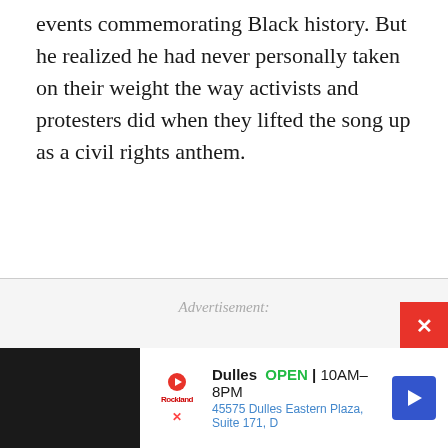events commemorating Black history. But he realized he had never personally taken on their weight the way activists and protesters did when they lifted the song up as a civil rights anthem.
Advertisement:
[Figure (other): Advertisement banner at bottom showing Rockland store listing: Dulles OPEN 10AM-8PM, 45575 Dulles Eastern Plaza, Suite 171, D]